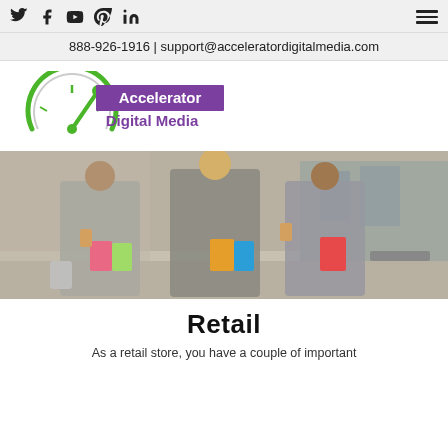Social icons: Twitter, Facebook, YouTube, Pinterest, LinkedIn | Hamburger menu
888-926-1916 | support@acceleratordigitalmedia.com
[Figure (logo): Accelerator Digital Media logo with green speedometer graphic and purple/green text]
[Figure (photo): Three women in business-casual attire walking together holding shopping bags and coffee cups]
Retail
As a retail store, you have a couple of important